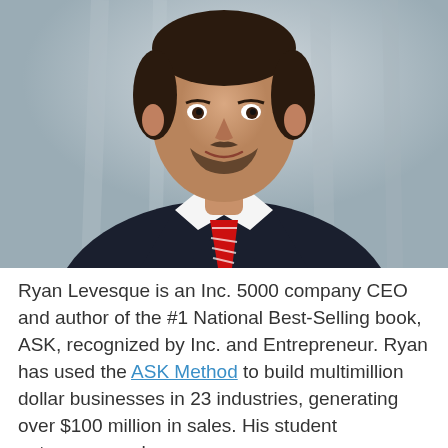[Figure (photo): Professional headshot of Ryan Levesque, a man in a dark suit with a red and white striped tie, white dress shirt, short dark hair and beard, smiling slightly, photographed against a grey blurred background.]
Ryan Levesque is an Inc. 5000 company CEO and author of the #1 National Best-Selling book, ASK, recognized by Inc. and Entrepreneur. Ryan has used the ASK Method to build multimillion dollar businesses in 23 industries, generating over $100 million in sales. His student entrepreneurs have